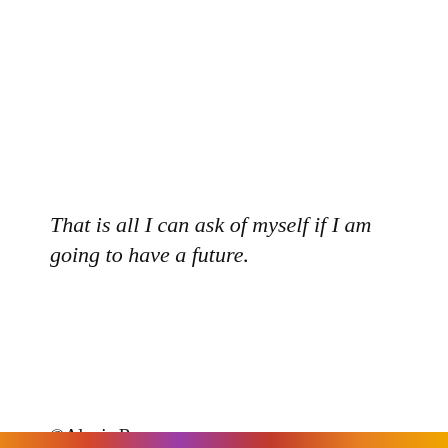That is all I can ask of myself if I am going to have a future.
©Alexis Rose
http://www.amazon.com/Untangled-story-resilience-courage-triumph/dp/1514213222
Privacy & Cookies: This site uses cookies. By continuing to use this website, you agree to their use.
To find out more, including how to control cookies, see here: Cookie Policy
Close and accept